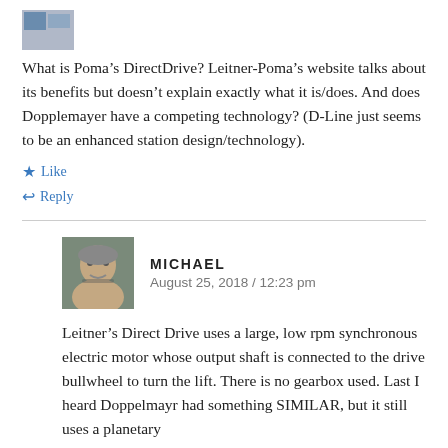[Figure (photo): Small avatar/profile image thumbnail at top left]
What is Poma's DirectDrive? Leitner-Poma's website talks about its benefits but doesn't explain exactly what it is/does. And does Dopplemayer have a competing technology? (D-Line just seems to be an enhanced station design/technology).
Like
Reply
MICHAEL
August 25, 2018 / 12:23 pm
Leitner's Direct Drive uses a large, low rpm synchronous electric motor whose output shaft is connected to the drive bullwheel to turn the lift. There is no gearbox used. Last I heard Doppelmayr had something SIMILAR, but it still uses a planetary